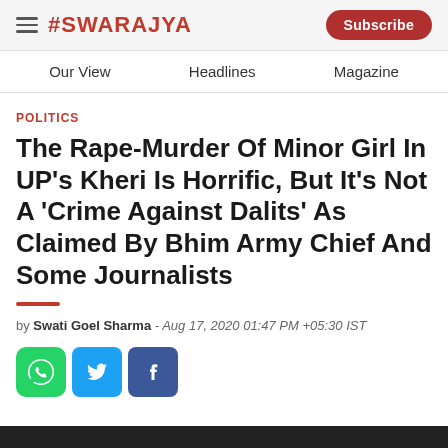#SWARAJYA | Subscribe | Our View | Headlines | Magazine
POLITICS
The Rape-Murder Of Minor Girl In UP's Kheri Is Horrific, But It's Not A 'Crime Against Dalits' As Claimed By Bhim Army Chief And Some Journalists
by Swati Goel Sharma - Aug 17, 2020 01:47 PM +05:30 IST
[Figure (infographic): Social share buttons: WhatsApp (green), Twitter (blue), Facebook (blue)]